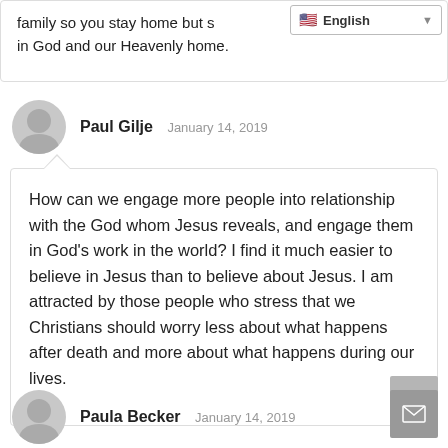family so you stay home but s… in God and our Heavenly home.
Paul Gilje   January 14, 2019
How can we engage more people into relationship with the God whom Jesus reveals, and engage them in God’s work in the world? I find it much easier to believe in Jesus than to believe about Jesus. I am attracted by those people who stress that we Christians should worry less about what happens after death and more about what happens during our lives.
Paula Becker   January 14, 2019